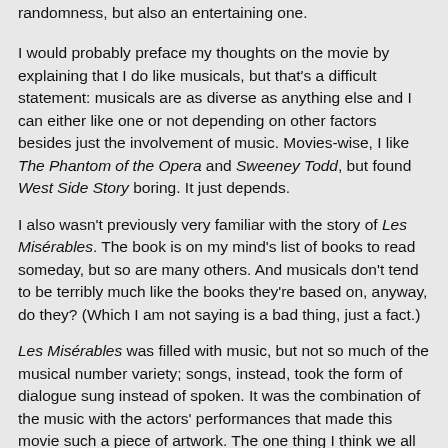randomness, but also an entertaining one.
I would probably preface my thoughts on the movie by explaining that I do like musicals, but that's a difficult statement: musicals are as diverse as anything else and I can either like one or not depending on other factors besides just the involvement of music. Movies-wise, I like The Phantom of the Opera and Sweeney Todd, but found West Side Story boring. It just depends.
I also wasn't previously very familiar with the story of Les Misérables. The book is on my mind's list of books to read someday, but so are many others. And musicals don't tend to be terribly much like the books they're based on, anyway, do they? (Which I am not saying is a bad thing, just a fact.)
Les Misérables was filled with music, but not so much of the musical number variety; songs, instead, took the form of dialogue sung instead of spoken. It was the combination of the music with the actors' performances that made this movie such a piece of artwork. The one thing I think we all know about the story is that it's very sad material, and the actors all brought so much passionate emotion to their